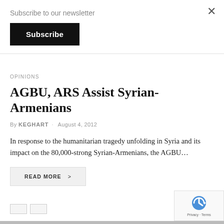Subscribe to our newsletter
Subscribe
×
OPINIONS
AGBU, ARS Assist Syrian-Armenians
By KEGHART · August 4, 2012
In response to the humanitarian tragedy unfolding in Syria and its impact on the 80,000-strong Syrian-Armenians, the AGBU…
READ MORE >
Privacy · Terms